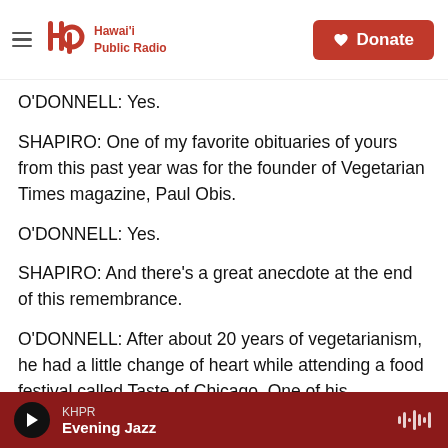Hawai'i Public Radio — Donate
O'DONNELL: Yes.
SHAPIRO: One of my favorite obituaries of yours from this past year was for the founder of Vegetarian Times magazine, Paul Obis.
O'DONNELL: Yes.
SHAPIRO: And there's a great anecdote at the end of this remembrance.
O'DONNELL: After about 20 years of vegetarianism, he had a little change of heart while attending a food festival called Taste of Chicago. One of his
KHPR — Evening Jazz